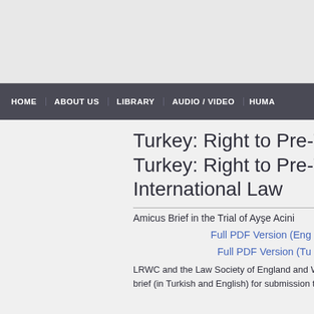[Figure (other): Top header banner area, light gray background]
HOME   ABOUT US   LIBRARY   AUDIO / VIDEO   HUMA...
Turkey: Right to Pre-Tria...
Turkey: Right to Pre-Tria... International Law
Amicus Brief in the Trial of Ayşe Acini...
Full PDF Version (Eng...
Full PDF Version (Tu...
LRWC and the Law Society of England and W... brief (in Turkish and English) for submission t...